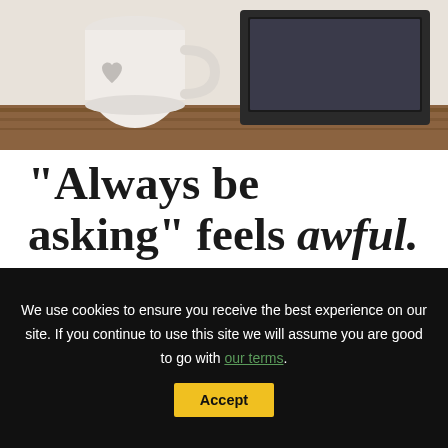[Figure (photo): A white mug with a heart on it, sitting on a wooden desk surface, with a dark laptop in the background. The image is cropped showing only the top portion.]
“Always be asking” feels awful.
You want to grow your business by serving more clients
We use cookies to ensure you receive the best experience on our site. If you continue to use this site we will assume you are good to go with our terms. Accept